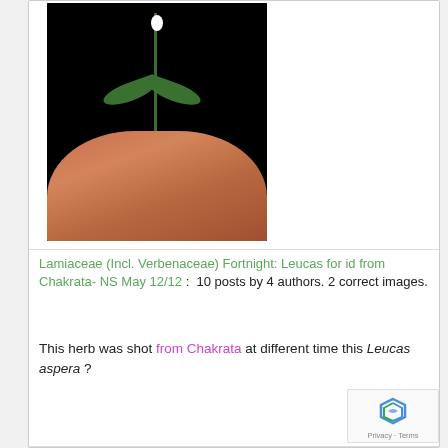[Figure (photo): A small white-flowered herb (Leucas aspera) being held between fingers against a black background, showing the stem, leaves, and small white flower at top.]
Lamiaceae (Incl. Verbenaceae) Fortnight: Leucas for id from Chakrata- NS May 12/12 :  10 posts by 4 authors. 2 correct images.
This herb was shot from Chakrata at different time this Leucas aspera ?